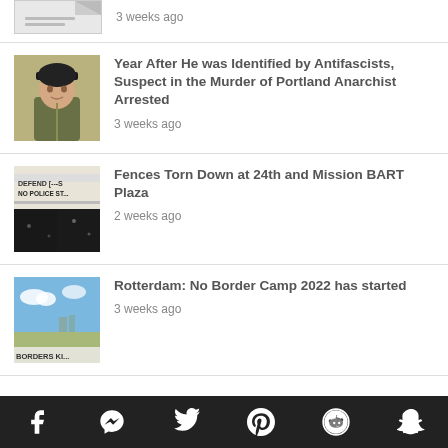[Figure (other): Partial news item thumbnail (document icon) with date '3 weeks ago']
3 weeks ago
[Figure (photo): Young man in black cap, olive jacket, sitting outdoors]
Year After He was Identified by Antifascists, Suspect in the Murder of Portland Anarchist Arrested
3 weeks ago
[Figure (photo): Black and white photo of protest sign reading 'DEFEND [something] NO POLICE STATE' with dark lower panel]
Fences Torn Down at 24th and Mission BART Plaza
2 weeks ago
[Figure (photo): Outdoor scene with blue sky and banner reading 'BORDERS KILL' or similar]
Rotterdam: No Border Camp 2022 has started
3 weeks ago
Social share icons: Facebook, Messenger, Twitter, Pinterest, Reddit, Snapchat